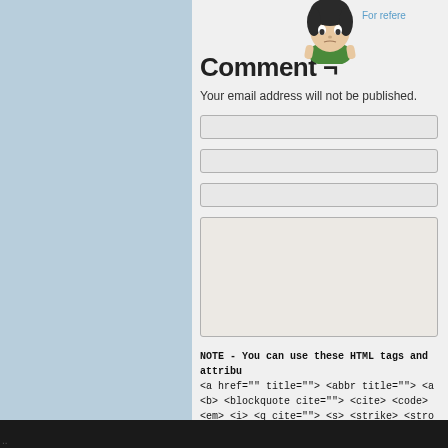[Figure (illustration): Cartoon avatar of a person with dark hair and green clothing]
For refe...
Comment ¬
Your email address will not be published.
NOTE - You can use these HTML tags and attribu... <a href="" title=""> <abbr title=""> <a <b> <blockquote cite=""> <cite> <code> <em> <i> <q cite=""> <s> <strike> <stro
Post Comment